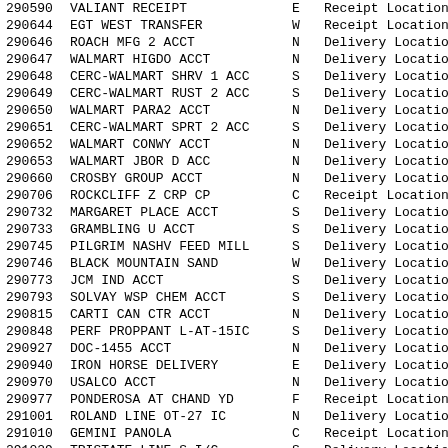| ID | Name | Code | Type |
| --- | --- | --- | --- |
| 290590 | VALIANT RECEIPT | E | Receipt Location |
| 290644 | EGT WEST TRANSFER | W | Receipt Location |
| 290646 | ROACH MFG 2 ACCT | N | Delivery Location |
| 290647 | WALMART HIGDO ACCT | N | Delivery Location |
| 290648 | CERC-WALMART SHRV 1 ACC | S | Delivery Location |
| 290649 | CERC-WALMART RUST 2 ACC | S | Delivery Location |
| 290650 | WALMART PARA2 ACCT | N | Delivery Location |
| 290651 | CERC-WALMART SPRT 2 ACC | S | Delivery Location |
| 290652 | WALMART CONWY ACCT | N | Delivery Location |
| 290653 | WALMART JBOR D ACC | N | Delivery Location |
| 290660 | CROSBY GROUP ACCT | N | Delivery Location |
| 290706 | ROCKCLIFF Z CRP CP | C | Receipt Location |
| 290732 | MARGARET PLACE ACCT | S | Delivery Location |
| 290733 | GRAMBLING U ACCT | S | Delivery Location |
| 290745 | PILGRIM NASHV FEED MILL | S | Delivery Location |
| 290746 | BLACK MOUNTAIN SAND | W | Delivery Location |
| 290773 | JCM IND ACCT | S | Delivery Location |
| 290793 | SOLVAY WSP CHEM ACCT | S | Delivery Location |
| 290815 | CARTI CAN CTR ACCT | N | Delivery Location |
| 290848 | PERF PROPPANT L-AT-15IC | S | Delivery Location |
| 290927 | DOC-1455 ACCT | N | Delivery Location |
| 290940 | IRON HORSE DELIVERY | E | Delivery Location |
| 290970 | USALCO ACCT | N | Delivery Location |
| 290977 | PONDEROSA AT CHAND YD | F | Receipt Location |
| 291001 | ROLAND LINE OT-27 IC | N | Delivery Location |
| 291010 | GEMINI PANOLA | C | Receipt Location |
| 291029 | TRISTATE LINE S I/C | S | Delivery Location |
| 291049 | WM OF LR AR ACCT | N | Delivery Location |
| 291059 | VANGUARD POTATO DISP | F | Delivery Location |
| 291102 | PONDEROSA AT CHAND DISP | F | Delivery Location |
| 291103 | ADA COCA-COLA ACCT | E | Delivery Location |